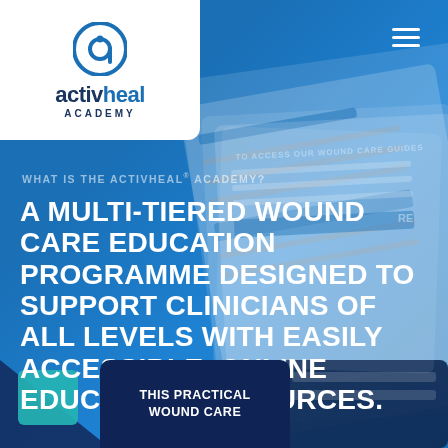[Figure (logo): Activheal Academy logo — circular icon with letter 'a' above bold text 'activheal' and 'ACADEMY' below, on white rounded rectangle background]
WHAT IS THE ACTIVHEAL® ACADEMY?
A MULTI-TIERED WOUND CARE EDUCATION PROGRAMME DESIGNED TO SUPPORT CLINICIANS OF ALL LEVELS WITH EASILY ACCESSIBLE, ONLINE EDUCATION RESOURCES.
[Figure (screenshot): Background collage of digital device screens showing wound care guides and educational forms with text 'TO ACCESS OUR WOUND CARE GUIDES']
THIS PRACTICAL WOUND CARE